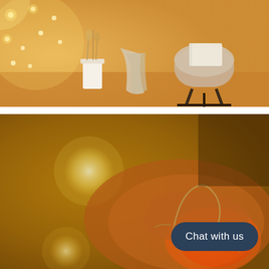[Figure (photo): A cozy room scene with warm fairy string lights on a wall, a white vase/cup with sticks on the floor, a draped blanket, and a modern chair with a book on it. Warm golden ambient lighting.]
[Figure (photo): A close-up of a hand holding a thin copper wire fairy light string against a warm golden/amber blurred background with bokeh light spots. A 'Chat with us' button overlay is visible in the bottom right.]